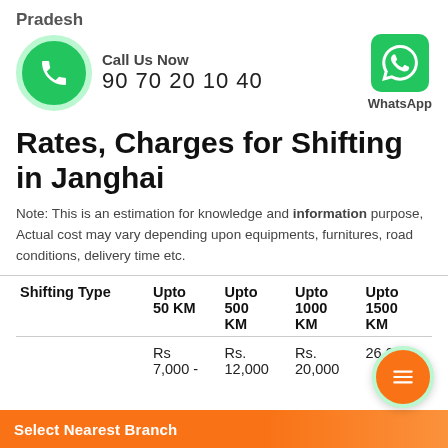Pradesh
[Figure (infographic): Call Us Now button with phone icon circle and WhatsApp icon block. Phone: 90 70 20 10 40]
Rates, Charges for Shifting in Janghai
Note: This is an estimation for knowledge and information purpose, Actual cost may vary depending upon equipments, furnitures, road conditions, delivery time etc.
| Shifting Type | Upto 50 KM | Upto 500 KM | Upto 1000 KM | Upto 1500 KM |
| --- | --- | --- | --- | --- |
|  | Rs 7,000 - | Rs. 12,000 | Rs. 20,000 | 26,000 |